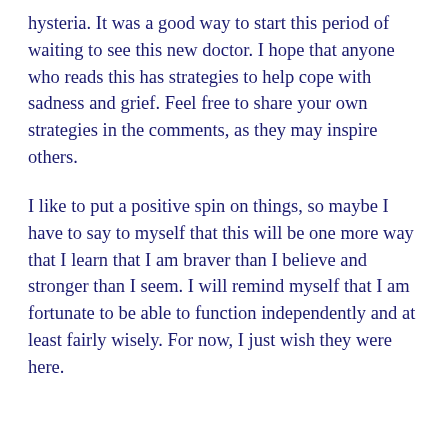hysteria. It was a good way to start this period of waiting to see this new doctor. I hope that anyone who reads this has strategies to help cope with sadness and grief. Feel free to share your own strategies in the comments, as they may inspire others.
I like to put a positive spin on things, so maybe I have to say to myself that this will be one more way that I learn that I am braver than I believe and stronger than I seem. I will remind myself that I am fortunate to be able to function independently and at least fairly wisely. For now, I just wish they were here.